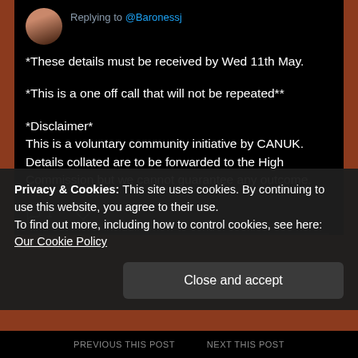Replying to @Baronessj
*These details must be received by Wed 11th May.

*This is a one off call that will not be repeated**

*Disclaimer*
This is a voluntary community initiative by CANUK.  Details collated are to be forwarded to the High Commission but we cannot guarantee any outcome.
Privacy & Cookies: This site uses cookies. By continuing to use this website, you agree to their use.
To find out more, including how to control cookies, see here: Our Cookie Policy
Close and accept